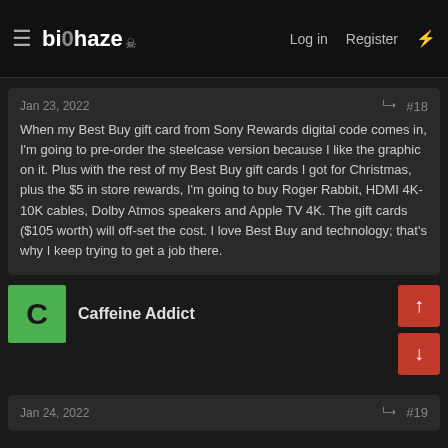biohaze — Log in  Register
Jan 23, 2022  #18
When my Best Buy gift card from Sony Rewards digital code comes in, I'm going to pre-order the steelcase version because I like the graphic on it. Plus with the rest of my Best Buy gift cards I got for Christmas, plus the $5 in store rewards, I'm going to buy Roger Rabbit, HDMI 4K-10K cables, Dolby Atmos speakers and Apple TV 4K. The gift cards ($105 worth) will off-set the cost. I love Best Buy and technology; that's why I keep trying to get a job there.
Caffeine Addict
Jan 24, 2022  #19